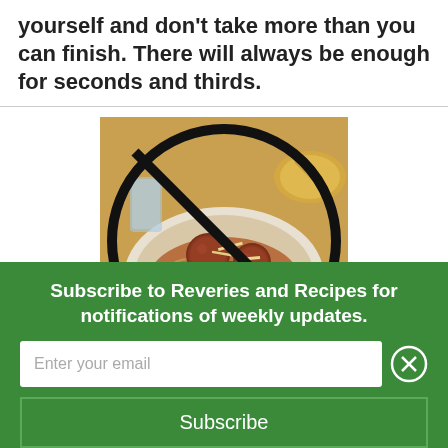yourself and don't take more than you can finish. There will always be enough for seconds and thirds.
[Figure (photo): A plate of spaghetti and meatballs with a no/prohibited symbol (circle with diagonal line) overlaid on it.]
Subscribe to Reveries and Recipes for notifications of weekly updates.
Enter your email
Subscribe